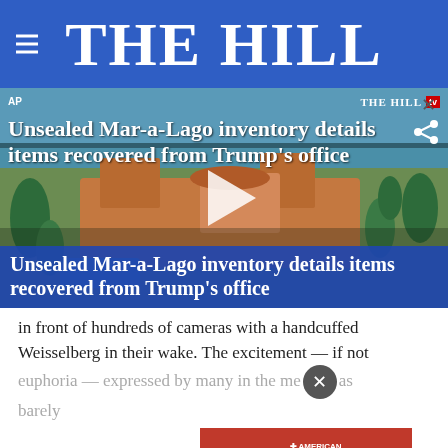THE HILL
[Figure (screenshot): Video thumbnail showing aerial view of Mar-a-Lago estate with title overlay 'Unsealed Mar-a-Lago inventory details items recovered from Trump's office' and THE HILL tv logo]
in front of hundreds of cameras with a handcuffed Weisselberg in their wake. The excitement — if not euphoria — expressed by many in the media was barely
[Figure (other): Advertisement banner: YOU STOPPED SMOKING. NOW STOP LUNG CANCER. with American Lung Association logo and Get SAVEDBYLESCAN.ORG]
Weisselberg is charged with failing to pay taxes on